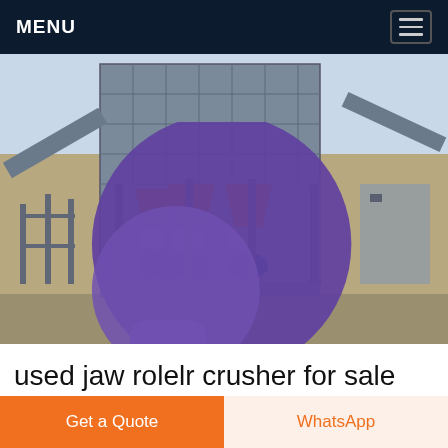MENU
[Figure (photo): Aerial view of an industrial cone crusher / screening plant facility with steel structure, multiple cone crushers, conveyor belts, and blue electric motors, set in an arid landscape]
used jaw rolelr crusher for sale
Used J50 Jaw Crusher for Sale 2013 Model J50 Jaw for
Get a Quote
WhatsApp